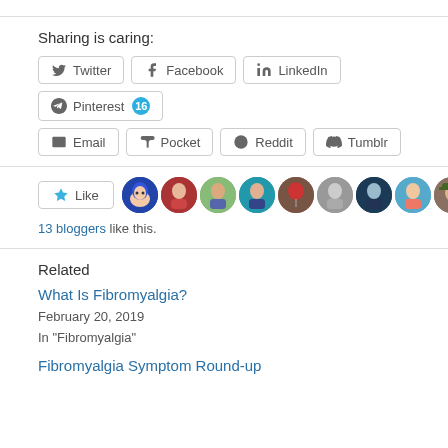Sharing is caring:
[Figure (other): Social share buttons: Twitter, Facebook, LinkedIn, Pinterest (16), Email, Pocket, Reddit, Tumblr]
[Figure (other): Like button with star icon, 9 blogger avatars, 13 bloggers like this.]
13 bloggers like this.
Related
What Is Fibromyalgia?
February 20, 2019
In "Fibromyalgia"
Fibromyalgia Symptom Round-up